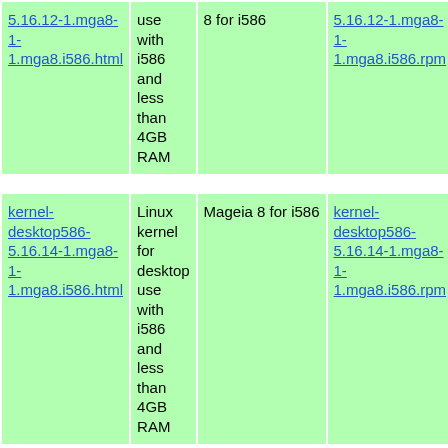| Package | Description | Arch | RPM |
| --- | --- | --- | --- |
| kernel-desktop586-5.16.12-1.mga8-1-1.mga8.i586.html | Linux kernel for desktop use with i586 and less than 4GB RAM | Mageia 8 for i586 | kernel-desktop586-5.16.12-1.mga8-1-1.mga8.i586.rpm |
| kernel-desktop586-5.16.14-1.mga8-1-1.mga8.i586.html | Linux kernel for desktop use with i586 and less than 4GB RAM | Mageia 8 for i586 | kernel-desktop586-5.16.14-1.mga8-1-1.mga8.i586.rpm |
| kernel-desktop586-5.16.18-1.mga8-1-1.mga8.i586.html | Linux kernel for desktop use with i586 and less than 4GB RAM | Mageia 8 for i586 | kernel-desktop586-5.16.18-1.mga8-1-1.mga8.i586.rpm |
| kernel-desktop586-5.17.11-1.mga8-1-1.mga8.i586.html | Linux kernel for desktop use with i586 and less than 4GB RAM | Mageia 8 for i586 | kernel-desktop586-5.17.11-1.mga8-1-1.mga8.i586.rpm |
| kernel-desktop586- | Linux kernel for desktop | Mageia | kernel-desktop586- |